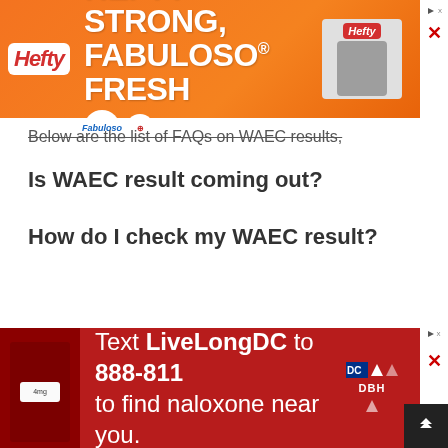[Figure (infographic): Hefty brand advertisement banner with orange background showing 'HEFTY STRONG, FABULOSO FRESH' text, featuring Hefty, Fabuloso, and Arm & Hammer logos and product image]
Below are the list of FAQs on WAEC results,
Is WAEC result coming out?
How do I check my WAEC result?
[Figure (infographic): Red advertisement banner: 'Text LiveLongDC to 888-811 to find naloxone near you.' with DC and DBH logos]